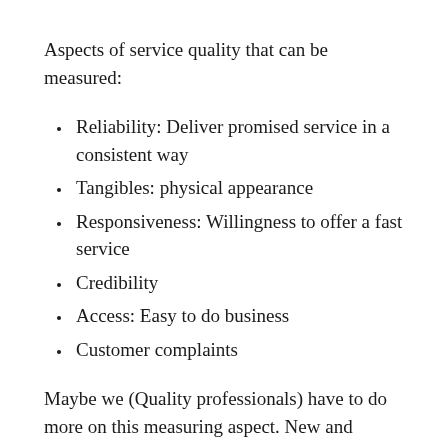Aspects of service quality that can be measured:
Reliability: Deliver promised service in a consistent way
Tangibles: physical appearance
Responsiveness: Willingness to offer a fast service
Credibility
Access: Easy to do business
Customer complaints
Maybe we (Quality professionals) have to do more on this measuring aspect. New and improved measuring methods will have a